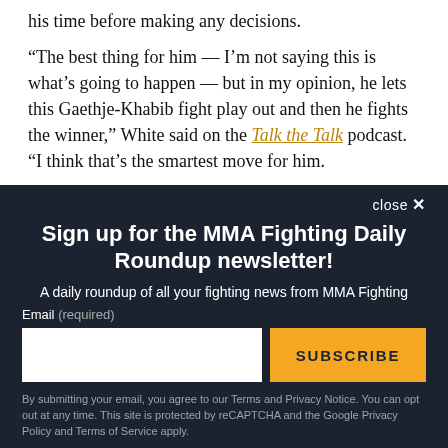his time before making any decisions.
“The best thing for him — I’m not saying this is what’s going to happen — but in my opinion, he lets this Gaethje-Khabib fight play out and then he fights the winner,” White said on the Talk the Talk podcast. “I think that’s the smartest move for him.
close ×
Sign up for the MMA Fighting Daily Roundup newsletter!
A daily roundup of all your fighting news from MMA Fighting
Email (required)
SUBSCRIBE
By submitting your email, you agree to our Terms and Privacy Notice. You can opt out at any time. This site is protected by reCAPTCHA and the Google Privacy Policy and Terms of Service apply.